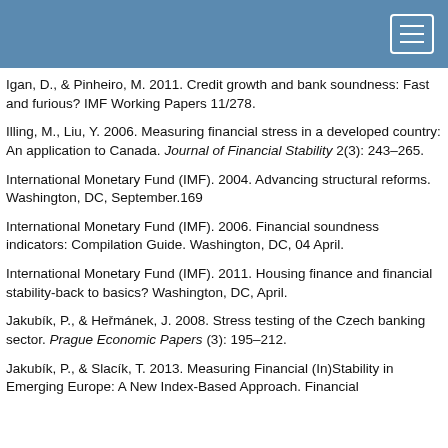Igan, D., & Pinheiro, M. 2011. Credit growth and bank soundness: Fast and furious? IMF Working Papers 11/278.
Illing, M., Liu, Y. 2006. Measuring financial stress in a developed country: An application to Canada. Journal of Financial Stability 2(3): 243–265.
International Monetary Fund (IMF). 2004. Advancing structural reforms. Washington, DC, September.169
International Monetary Fund (IMF). 2006. Financial soundness indicators: Compilation Guide. Washington, DC, 04 April.
International Monetary Fund (IMF). 2011. Housing finance and financial stability-back to basics? Washington, DC, April.
Jakubík, P., & Heřmánek, J. 2008. Stress testing of the Czech banking sector. Prague Economic Papers (3): 195–212.
Jakubík, P., & Slacík, T. 2013. Measuring Financial (In)Stability in Emerging Europe: A New Index-Based Approach. Financial